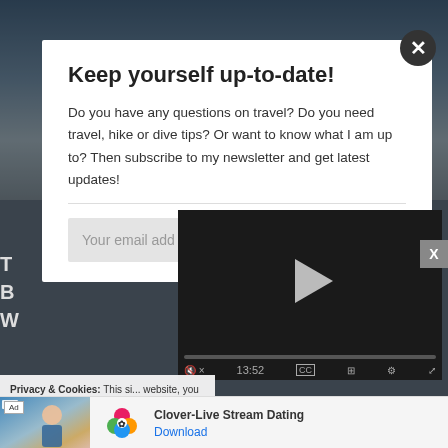[Figure (screenshot): Mountain background photo with blue sky and snow-capped peak, dimmed by overlay]
Keep yourself up-to-date!
Do you have any questions on travel? Do you need travel, hike or dive tips? Or want to know what I am up to? Then subscribe to my newsletter and get latest updates!
Your email add...
T
B
W
[Figure (screenshot): Embedded video player with black background, play button, progress bar showing 13:52, and video controls including mute, CC, grid, settings, and fullscreen buttons]
Privacy & Cookies: This si... website, you agree to thei... To find out more, including...
Policy
[Figure (screenshot): Advertisement bar showing Clover-Live Stream Dating app with beach photo, clover logo icon, app name and Download link]